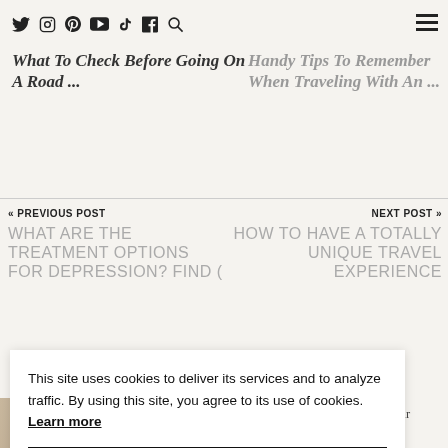Social icons nav bar with Twitter, Instagram, Pinterest, YouTube, TikTok, Facebook, Search icons and hamburger menu
What To Check Before Going On A Road ...
Handy Tips To Remember When Traveling With An ...
« PREVIOUS POST
WHAT ARE THE TREATMENT OPTIONS FOR DEPRESSION? FIND (
NEXT POST »
HOW TO HAVE A TOTALLY UNIQUE TRAVEL EXPERIENCE
This site uses cookies to deliver its services and to analyze traffic. By using this site, you agree to its use of cookies. Learn more
OK
and
here
ation
tion.
yoneone
and travel, especially with their